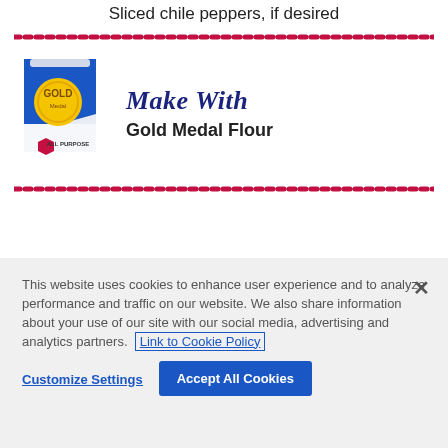Sliced chile peppers, if desired
[Figure (illustration): Gold Medal All Purpose Flour bag product image]
Make With
Gold Medal Flour
Get ingredients
This website uses cookies to enhance user experience and to analyze performance and traffic on our website. We also share information about your use of our site with our social media, advertising and analytics partners. Link to Cookie Policy
Customize Settings
Accept All Cookies